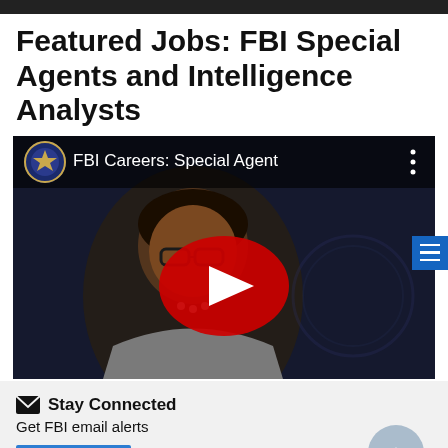Featured Jobs: FBI Special Agents and Intelligence Analysts
[Figure (screenshot): YouTube video thumbnail for 'FBI Careers: Special Agent' showing an African American woman in a blazer being interviewed, with FBI seal in upper left corner, YouTube play button overlay in center, and a blue menu button on the right side.]
Stay Connected
Get FBI email alerts
Subscribe   No Thanks